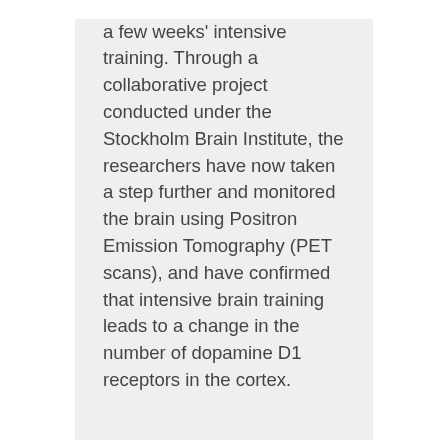a few weeks' intensive training. Through a collaborative project conducted under the Stockholm Brain Institute, the researchers have now taken a step further and monitored the brain using Positron Emission Tomography (PET scans), and have confirmed that intensive brain training leads to a change in the number of dopamine D1 receptors in the cortex.
Science Daily: Cognitive Training Can Alter Biochemistry Of The Brain
Previously: Increase your intelligence with 20mins a day brain excerise